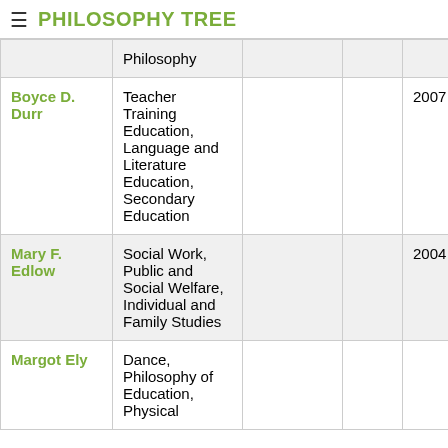PHILOSOPHY TREE
| Name | Field |  |  | Year |
| --- | --- | --- | --- | --- |
|  | Philosophy |  |  |  |
| Boyce D. Durr | Teacher Training Education, Language and Literature Education, Secondary Education |  |  | 2007 |
| Mary F. Edlow | Social Work, Public and Social Welfare, Individual and Family Studies |  |  | 2004 |
| Margot Ely | Dance, Philosophy of Education, Physical |  |  |  |